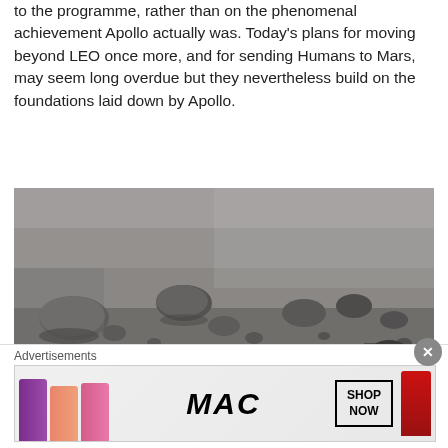to the programme, rather than on the phenomenal achievement Apollo actually was. Today's plans for moving beyond LEO once more, and for sending Humans to Mars, may seem long overdue but they nevertheless build on the foundations laid down by Apollo.
[Figure (photo): Black and white photograph of the surface of Mars showing rocky terrain and boulders, with what appears to be part of the Viking lander visible in the lower right corner.]
The first "clean" image of the surface of Mars returned by Viking 1 on July 20th, 1976. Credit: NASA (public...
Advertisements
[Figure (photo): MAC Cosmetics advertisement banner showing lipsticks in purple, pink and red colors alongside the MAC logo and a SHOP NOW button.]